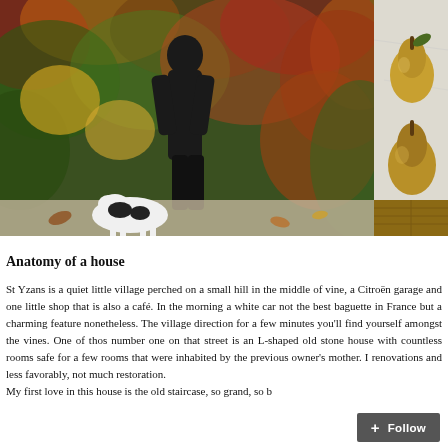[Figure (photo): Person in black clothing standing in front of a colorful autumn vine-covered wall, with a black and white dog at their feet on a gravel path. A partial second photo on the right shows pears on a marble surface.]
Anatomy of a house
St Yzans is a quiet little village perched on a small hill in the middle of vines, a Citroën garage and one little shop that is also a café. In the morning a white car brings, not the best baguette in France but a charming feature nonetheless. The village is so small that if you walk in any direction for a few minutes you'll find yourself amongst the vines. One of those streets is called Rue de la Vigne; number one on that street is an L-shaped old stone house with countless rooms all left empty for years, safe for a few rooms that were inhabited by the previous owner's mother. It has seen many renovations and less favorably, not much restoration.
My first love in this house is the old staircase, so grand, so b…